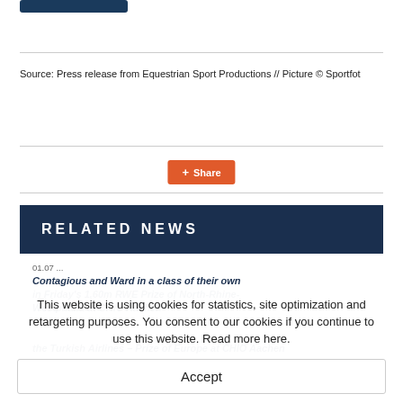Source: Press release from Equestrian Sport Productions // Picture © Sportfot
[Figure (other): Share button with orange background and plus icon]
RELATED NEWS
Contagious and Ward in a class of their own in Friday's 1.60m RWE Prize of North-Rhine-Westphalia at CHIO Aachen
the Turkish Airlines – Prize of Europe at CHIO Aachen
This website is using cookies for statistics, site optimization and retargeting purposes. You consent to our cookies if you continue to use this website. Read more here.
Accept